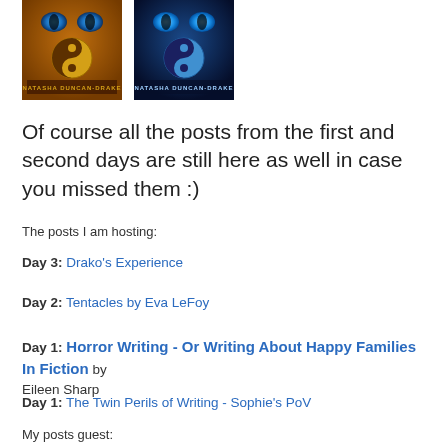[Figure (illustration): Two book covers side by side by Natasha Duncan-Drake — left cover has warm orange/gold tones with a cat face and gold yin-yang symbol, right cover has blue/dark tones with a cat face and blue yin-yang symbol]
Of course all the posts from the first and second days are still here as well in case you missed them :)
The posts I am hosting:
Day 3: Drako's Experience
Day 2: Tentacles by Eva LeFoy
Day 1: Horror Writing - Or Writing About Happy Families In Fiction by Eileen Sharp
Day 1: The Twin Perils of Writing - Sophie's PoV
My posts guest: